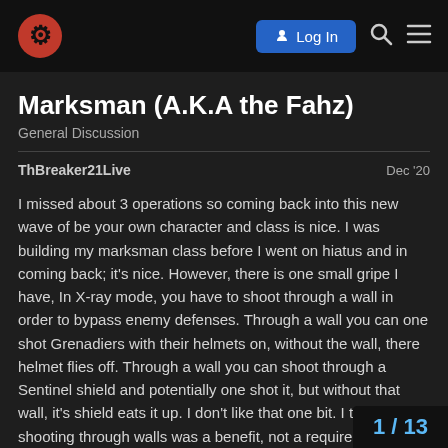Log In
Marksman (A.K.A the Fahz)
General Discussion
ThBreaker21Live
Dec '20
I missed about 3 operations so coming back into this new wave of be your own character and class is nice. I was building my marksman class before I went on hiatus and in coming back; it's nice. However, there is one small gripe I have, In X-ray mode, you have to shoot through a wall in order to bypass enemy defenses. Through a wall you can one shot Grenadiers with their helmets on, without the wall, there helmet flies off. Through a wall you can shoot through a Sentinel shield and potentially one shot it, but without that wall, it's shield eats it up. I don't like that one bit. I thought the shooting through walls was a benefit, not a requirement. Coalition, if you don't mind...co need to shoot through a wall?
1 / 13